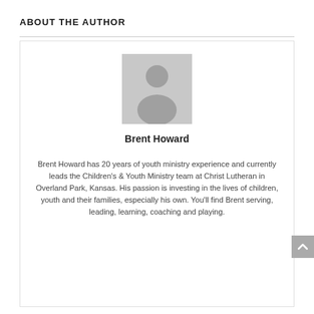ABOUT THE AUTHOR
[Figure (illustration): Generic grey placeholder avatar/silhouette image of a person, square shaped]
Brent Howard
Brent Howard has 20 years of youth ministry experience and currently leads the Children's & Youth Ministry team at Christ Lutheran in Overland Park, Kansas. His passion is investing in the lives of children, youth and their families, especially his own. You'll find Brent serving, leading, learning, coaching and playing.